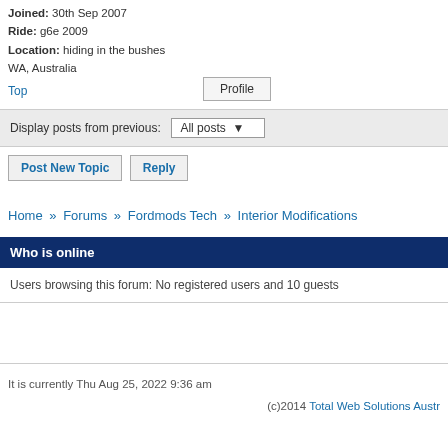Joined: 30th Sep 2007
Ride: g6e 2009
Location: hiding in the bushes WA, Australia
Top
Profile
Display posts from previous: All posts
Post New Topic   Reply
Home » Forums » Fordmods Tech » Interior Modifications
Who is online
Users browsing this forum: No registered users and 10 guests
It is currently Thu Aug 25, 2022 9:36 am
(c)2014 Total Web Solutions Austr